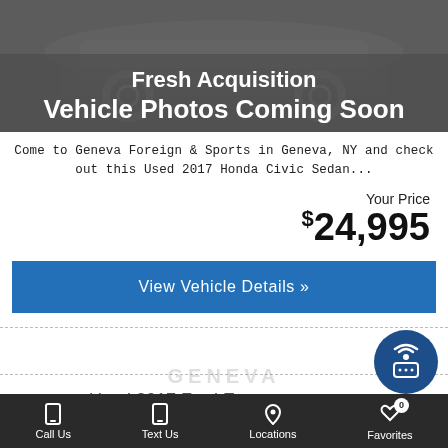[Figure (photo): Dark gray placeholder image for a vehicle — 'Fresh Acquisition Vehicle Photos Coming Soon' with a faint car silhouette in the background]
Come to Geneva Foreign & Sports in Geneva, NY and check out this Used 2017 Honda Civic Sedan...
Your Price $24,995
View Vehicle Details »
Used 2017 Ford Escape Titanium
Call Us  Text Us  Locations  Favorites 0